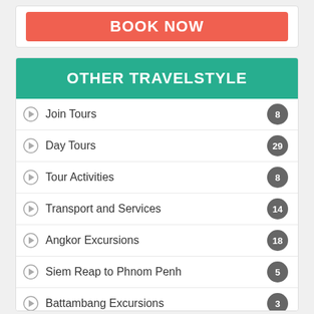BOOK NOW
OTHER TRAVELSTYLE
Join Tours 8
Day Tours 29
Tour Activities 8
Transport and Services 14
Angkor Excursions 18
Siem Reap to Phnom Penh 5
Battambang Excursions 3
Phnom Penh Excursions 4
From Phnom Penh 9